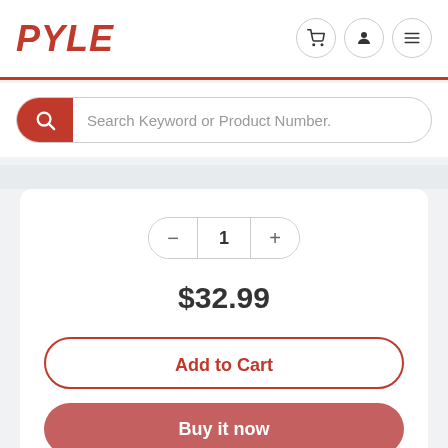[Figure (logo): PYLE brand logo in bold italic red text]
[Figure (screenshot): Header navigation icons: shopping cart, user profile, hamburger menu — each in a circular border]
Search Keyword or Product Number.
1
$32.99
Add to Cart
Buy it now